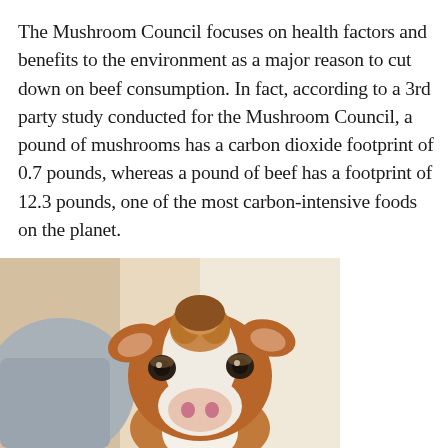The Mushroom Council focuses on health factors and benefits to the environment as a major reason to cut down on beef consumption. In fact, according to a 3rd party study conducted for the Mushroom Council, a pound of mushrooms has a carbon dioxide footprint of 0.7 pounds, whereas a pound of beef has a footprint of 12.3 pounds, one of the most carbon-intensive foods on the planet.
[Figure (photo): Close-up photo of a young brown and white calf looking directly at the camera, with a light blue/grey blurred background.]